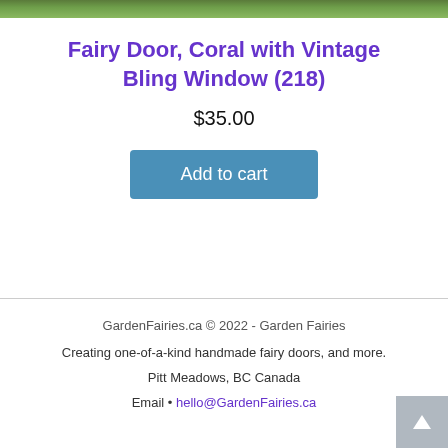[Figure (photo): Top partial image of a garden or outdoor scene with green foliage]
Fairy Door, Coral with Vintage Bling Window (218)
$35.00
Add to cart
GardenFairies.ca © 2022 - Garden Fairies
Creating one-of-a-kind handmade fairy doors, and more.
Pitt Meadows, BC Canada
Email • hello@GardenFairies.ca